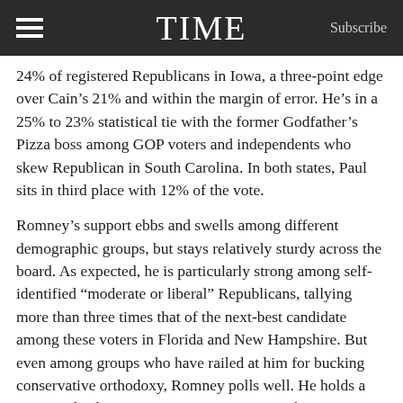TIME
24% of registered Republicans in Iowa, a three-point edge over Cain’s 21% and within the margin of error. He’s in a 25% to 23% statistical tie with the former Godfather’s Pizza boss among GOP voters and independents who skew Republican in South Carolina. In both states, Paul sits in third place with 12% of the vote.
Romney’s support ebbs and swells among different demographic groups, but stays relatively sturdy across the board. As expected, he is particularly strong among self-identified “moderate or liberal” Republicans, tallying more than three times that of the next-best candidate among these voters in Florida and New Hampshire. But even among groups who have railed at him for bucking conservative orthodoxy, Romney polls well. He holds a 20-point lead over Cain among New Hampshire Tea Partyers, ties Cain with 26% of the movement’s support in Florida, and sits second among these Republicans in Iowa and South Carolina.